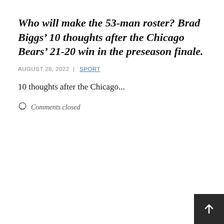Who will make the 53-man roster? Brad Biggs' 10 thoughts after the Chicago Bears' 21-20 win in the preseason finale.
AUGUST 28, 2022 | SPORT
10 thoughts after the Chicago...
Comments closed